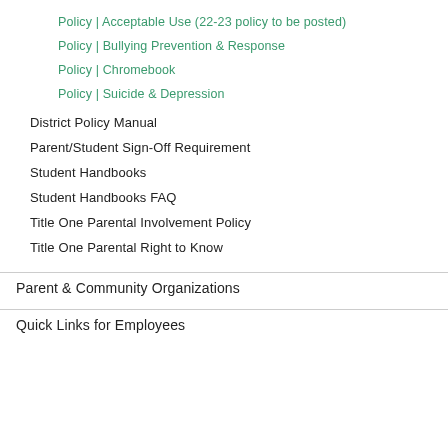Policy | Acceptable Use (22-23 policy to be posted)
Policy | Bullying Prevention & Response
Policy | Chromebook
Policy | Suicide & Depression
District Policy Manual
Parent/Student Sign-Off Requirement
Student Handbooks
Student Handbooks FAQ
Title One Parental Involvement Policy
Title One Parental Right to Know
Parent & Community Organizations
Quick Links for Employees